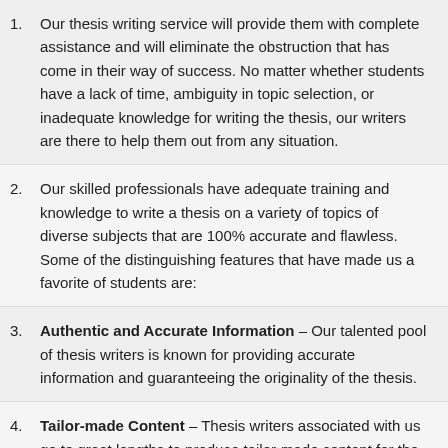Our thesis writing service will provide them with complete assistance and will eliminate the obstruction that has come in their way of success. No matter whether students have a lack of time, ambiguity in topic selection, or inadequate knowledge for writing the thesis, our writers are there to help them out from any situation.
Our skilled professionals have adequate training and knowledge to write a thesis on a variety of topics of diverse subjects that are 100% accurate and flawless. Some of the distinguishing features that have made us a favorite of students are:
Authentic and Accurate Information – Our talented pool of thesis writers is known for providing accurate information and guaranteeing the originality of the thesis.
Tailor-made Content – Thesis writers associated with us go to great lengths to produce tailor-made content for the thesis, exactly as per the students' specifications. The company values the academic integrity of the students and